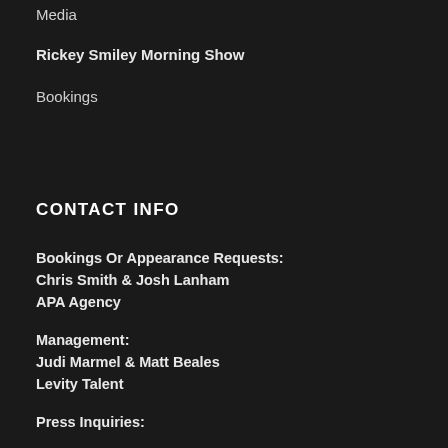Media
Rickey Smiley Morning Show
Bookings
CONTACT INFO
Bookings Or Appearance Requests:
Chris Smith & Josh Lanham
APA Agency
Management:
Judi Marmel & Matt Beales
Levity Talent
Press Inquiries: